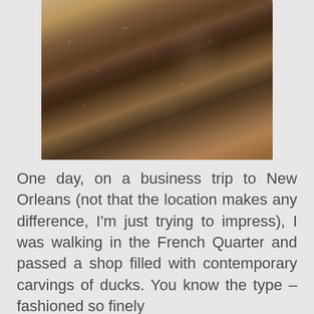[Figure (photo): Close-up photograph of a wooden duck carving, showing detailed wood grain texture with dark brown and reddish-brown tones, speckled surface details, and a beige/cream background.]
One day, on a business trip to New Orleans (not that the location makes any difference, I'm just trying to impress), I was walking in the French Quarter and passed a shop filled with contemporary carvings of ducks. You know the type – fashioned so finely